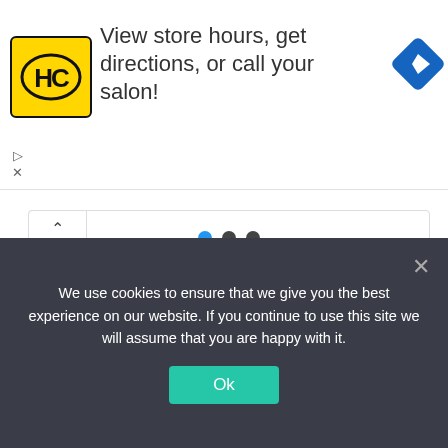[Figure (screenshot): Ad banner with HC logo (yellow/black), text 'View store hours, get directions, or call your salon!', blue navigation diamond icon, and play/close controls.]
[Figure (screenshot): Slider/carousel element with up-caret navigation button and three indicator dots (blue, dark, dark).]
Recent Posts
We use cookies to ensure that we give you the best experience on our website. If you continue to use this site we will assume that you are happy with it.
Ok